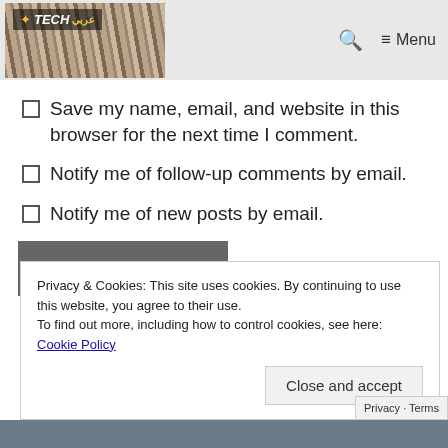TECH (logo) — Search — Menu
Save my name, email, and website in this browser for the next time I comment.
Notify me of follow-up comments by email.
Notify me of new posts by email.
Post Comment
Privacy & Cookies: This site uses cookies. By continuing to use this website, you agree to their use.
To find out more, including how to control cookies, see here:
Cookie Policy
Close and accept
Privacy · Terms